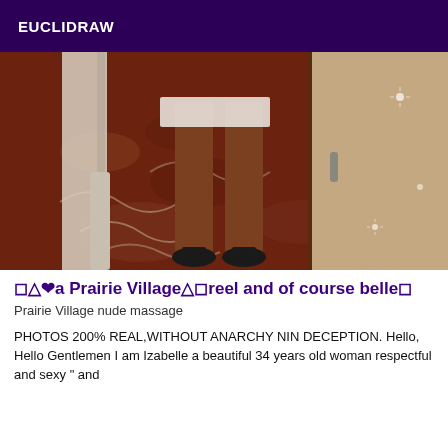EUCLIDRAW
[Figure (photo): Photo showing legs in heels standing on a patterned red and brown carpet in a hotel room, with a wardrobe/door visible on the right side.]
🔲△❤a Prairie Village△🔲reel and of course belle🔲
Prairie Village nude massage
PHOTOS 200% REAL,WITHOUT ANARCHY NIN DECEPTION. Hello, Hello Gentlemen I am Izabelle a beautiful 34 years old woman respectful and sexy " and